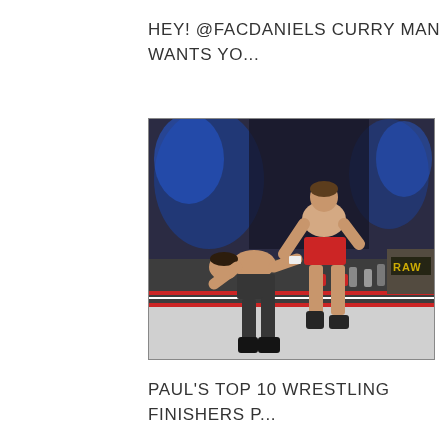HEY! @FACDANIELS CURRY MAN WANTS YO...
[Figure (photo): A wrestling match scene showing two wrestlers in a ring. One wrestler in red trunks appears to be performing a move on another wrestler. The arena background shows blue lighting and audience members. The ring ropes and mat are visible.]
PAUL'S TOP 10 WRESTLING FINISHERS P...